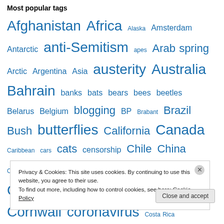Most popular tags
Afghanistan Africa Alaska Amsterdam Antarctic anti-Semitism apes Arab spring Arctic Argentina Asia austerity Australia Bahrain banks bats bears bees beetles Belarus Belgium blogging BP Brabant Brazil Bush butterflies California Canada Caribbean cars cats censorship Chile China Christmas CIA Climate change Colombia Conservative party coral Cornell Cornwall coronavirus Costa Rica Cretaceous crocodiles crustaceans
Privacy & Cookies: This site uses cookies. By continuing to use this website, you agree to their use.
To find out more, including how to control cookies, see here: Cookie Policy
Close and accept